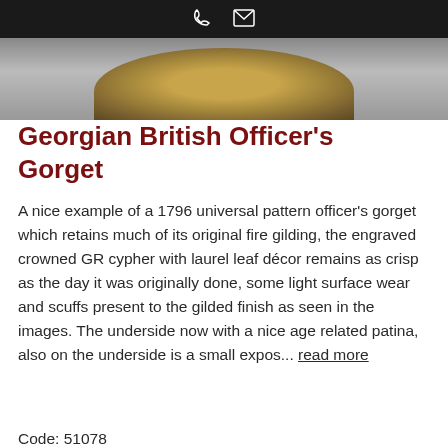☎ ✉
[Figure (photo): Partial view of a gilded British officer's gorget medal on a grey fabric background]
Georgian British Officer's Gorget
A nice example of a 1796 universal pattern officer's gorget which retains much of its original fire gilding, the engraved crowned GR cypher with laurel leaf décor remains as crisp as the day it was originally done, some light surface wear and scuffs present to the gilded finish as seen in the images. The underside now with a nice age related patina, also on the underside is a small expos... read more
Code: 51078